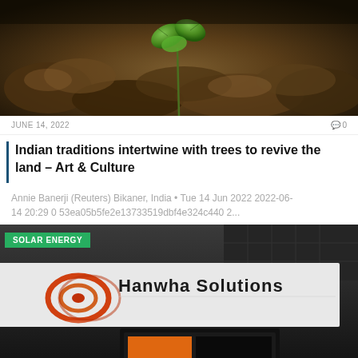[Figure (photo): Close-up photo of a small green seedling plant growing among brown rocks/stones, dark moody lighting]
JUNE 14, 2022   🗨 0
Indian traditions intertwine with trees to revive the land – Art & Culture
Annie Banerji (Reuters) Bikaner, India • Tue 14 Jun 2022 2022-06-14 20:29 0 53ea05b5fe2e13733519dbf4e324c440 2...
[Figure (photo): Photo showing Hanwha Solutions logo/branding on what appears to be solar panel equipment or signage, with SOLAR ENERGY badge overlay]